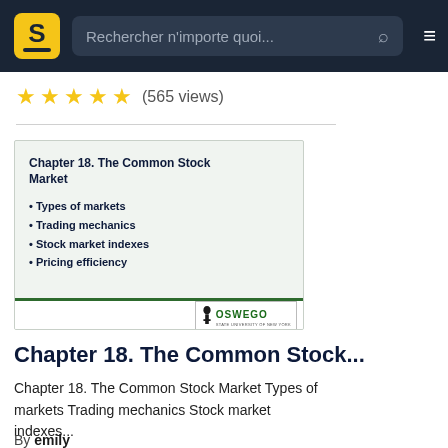Rechercher n'importe quoi...
★★★★★ (565 views)
[Figure (screenshot): Slide thumbnail for Chapter 18. The Common Stock Market. Shows title and bullet points: Types of markets, Trading mechanics, Stock market indexes, Pricing efficiency. OSWEGO (State University of New York) logo at bottom right.]
Chapter 18. The Common Stock...
Chapter 18. The Common Stock Market Types of markets Trading mechanics Stock market indexes...
By emily